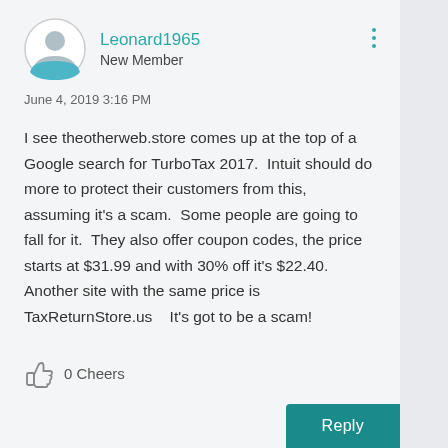Leonard1965
New Member
June 4, 2019 3:16 PM
I see theotherweb.store comes up at the top of a Google search for TurboTax 2017. Intuit should do more to protect their customers from this, assuming it's a scam. Some people are going to fall for it. They also offer coupon codes, the price starts at $31.99 and with 30% off it's $22.40. Another site with the same price is TaxReturnStore.us  It's got to be a scam!
0 Cheers